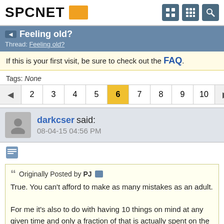SPCNET
Feeling old?
Thread: Feeling old?
If this is your first visit, be sure to check out the FAQ.
Tags: None
2 3 4 5 6 7 8 9 10
darkcser said: 08-04-15 04:56 PM
Originally Posted by PJ
True. You can't afford to make as many mistakes as an adult.

For me it's also to do with having 10 things on mind at any given time and only a fraction of that is actually spent on the thing in front of me.